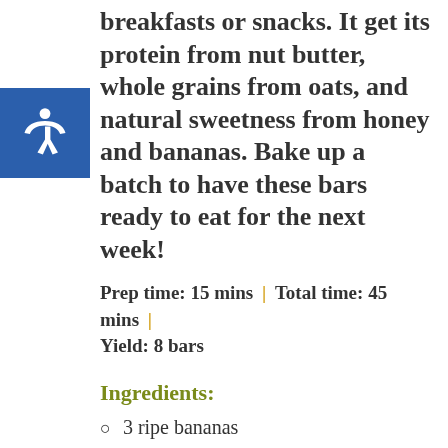breakfasts or snacks. It get its protein from nut butter, whole grains from oats, and natural sweetness from honey and bananas. Bake up a batch to have these bars ready to eat for the next week!
Prep time: 15 mins | Total time: 45 mins | Yield: 8 bars
Ingredients:
3 ripe bananas
1 cup of chopped nuts
¼ cup honey
1 teaspoon cinnamon